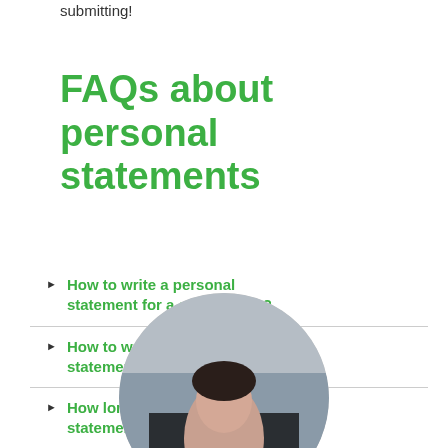submitting!
FAQs about personal statements
How to write a personal statement for a scholarship?
How to write a personal statement for medical school?
How long should a personal statement be for law school?
[Figure (photo): Circular cropped photo of a person, partially visible at bottom of page, appearing to show a woman against a bookshelf background]